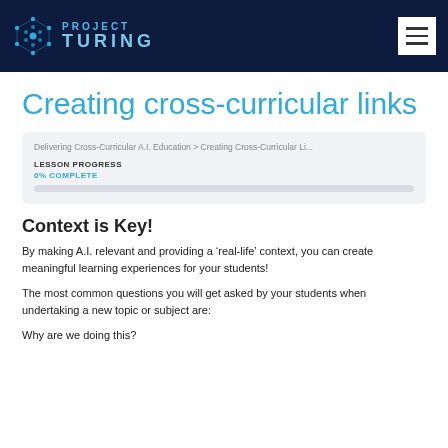PROJECT TURING
Creating cross-curricular links
Delivering Cross-Curricular A.I. Education > Creating Cross-Curricular Li...
LESSON PROGRESS
0% COMPLETE
Context is Key!
By making A.I. relevant and providing a ‘real-life’ context, you can create meaningful learning experiences for your students!
The most common questions you will get asked by your students when undertaking a new topic or subject are:
Why are we doing this?